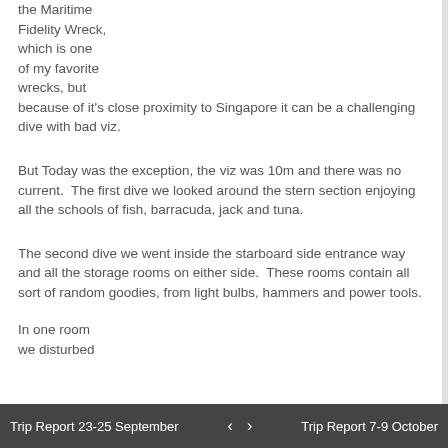the Maritime Fidelity Wreck, which is one of my favorite wrecks, but because of it's close proximity to Singapore it can be a challenging dive with bad viz.
But Today was the exception, the viz was 10m and there was no current.  The first dive we looked around the stern section enjoying all the schools of fish, barracuda, jack and tuna.
The second dive we went inside the starboard side entrance way and all the storage rooms on either side.  These rooms contain all sort of random goodies, from light bulbs, hammers and power tools.
In one room we disturbed
Trip Report 23-25 September   <   >   Trip Report 7-9 October